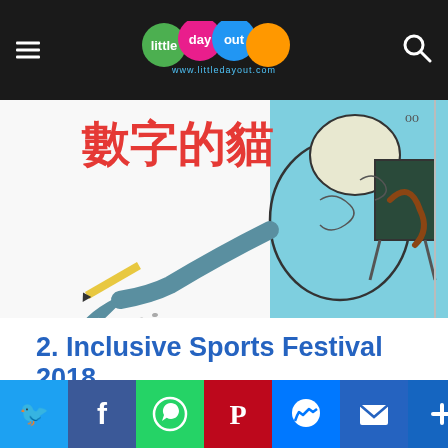little day out — www.littledayout.com
[Figure (illustration): Partial illustration of a cat-like creature drawing or painting, with Chinese characters visible in the upper left, blue and black ink style artwork]
2. Inclusive Sports Festival 2018
3 to 5 Aug, 10 am to 7 pm
Singapore Sports Hub
and enjoy a day of